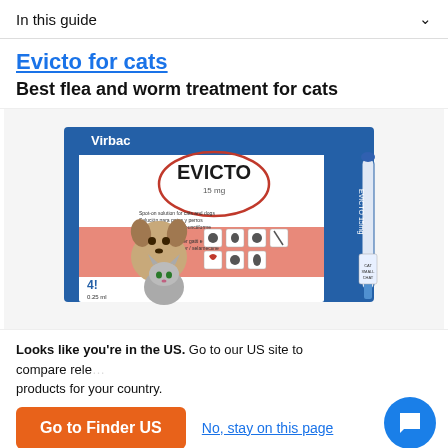In this guide
Evicto for cats
Best flea and worm treatment for cats
[Figure (photo): Evicto 15mg spot-on solution box by Virbac, showing a puppy and kitten on the packaging, with parasite icons and 4 pipettes. A single pipette applicator is shown to the right.]
Looks like you're in the US. Go to our US site to compare relevant products for your country.
Go to Finder US
No, stay on this page